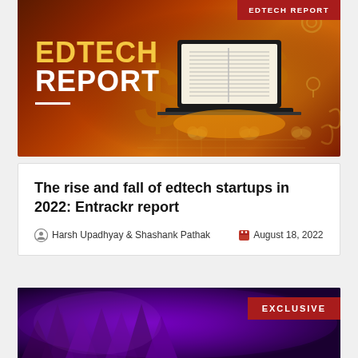[Figure (illustration): EdTech Report banner with gold/brown gradient background, laptop with open book, dollar signs and tech icons. Text 'EDTECH REPORT' in gold and white. Red badge top-right says 'EDTECH REPORT'.]
The rise and fall of edtech startups in 2022: Entrackr report
Harsh Upadhyay & Shashank Pathak    August 18, 2022
[Figure (photo): Purple-toned image with tree silhouettes and dark background. Red badge says 'EXCLUSIVE'.]